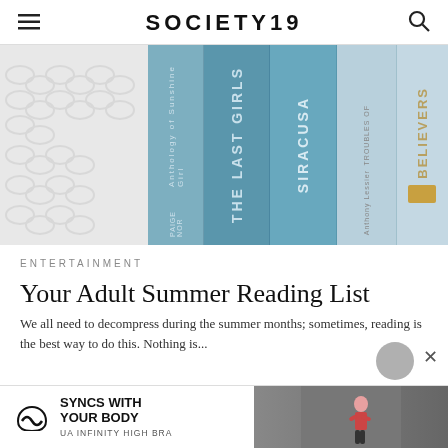SOCIETY19
[Figure (photo): A styled flat-lay photo showing white knitted fabric on the left and a row of pale blue books standing upright on the right. Book spines visible include 'The Last Girls', 'Siracusa', 'Believers', and partial titles.]
ENTERTAINMENT
Your Adult Summer Reading List
We all need to decompress during the summer months; sometimes, reading is the best way to do this. Nothing is...
[Figure (infographic): Advertisement banner for Under Armour: 'SYNCS WITH YOUR BODY – UA INFINITY HIGH BRA' with logo and a photo of a woman working out.]